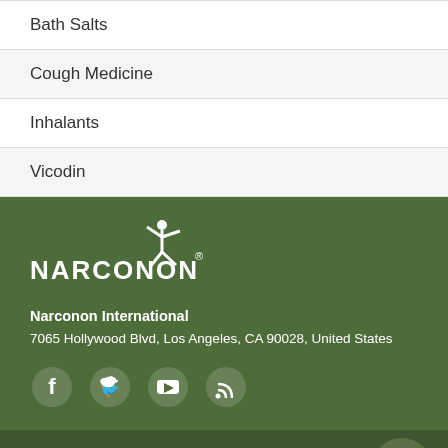| Bath Salts |
| Cough Medicine |
| Inhalants |
| Vicodin |
[Figure (logo): Narconon International logo — white figure leaping above stylized 'NARCONON' wordmark with registered trademark symbol]
Narconon International
7065 Hollywood Blvd, Los Angeles, CA 90028, United States
[Figure (infographic): Social media icons: Facebook, Twitter, YouTube, RSS feed]
LE PROGRAMME NARCONON
Découvrez ce qui rend le programme Narconon différent de tout